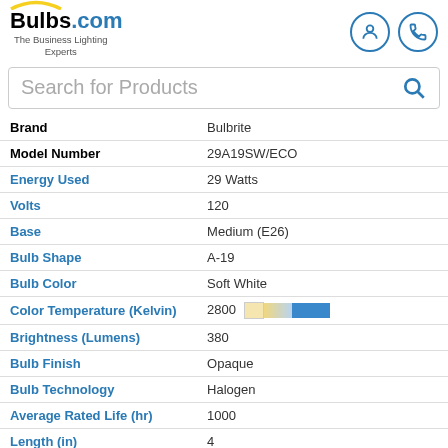Bulbs.com — The Business Lighting Experts
Search for Products
| Attribute | Value |
| --- | --- |
| Brand | Bulbrite |
| Model Number | 29A19SW/ECO |
| Energy Used | 29 Watts |
| Volts | 120 |
| Base | Medium (E26) |
| Bulb Shape | A-19 |
| Bulb Color | Soft White |
| Color Temperature (Kelvin) | 2800 |
| Brightness (Lumens) | 380 |
| Bulb Finish | Opaque |
| Bulb Technology | Halogen |
| Average Rated Life (hr) | 1000 |
| Length (in) | 4 |
| Diameter (in) | 2.375 |
| Dimmable | Yes |
[Figure (logo): TrustedSite badge with green checkmark]